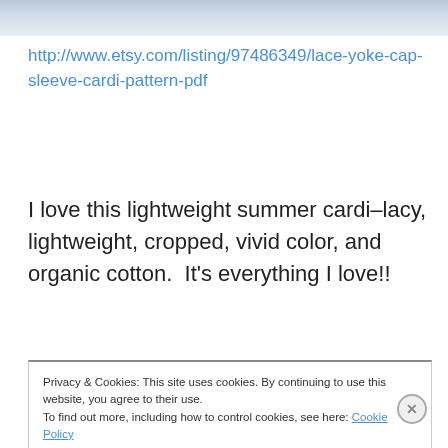[Figure (photo): Partial photo strip at top of page showing a light blue/grey fabric or clothing item]
http://www.etsy.com/listing/97486349/lace-yoke-cap-sleeve-cardi-pattern-pdf
I love this lightweight summer cardi–lacy, lightweight, cropped, vivid color, and organic cotton.  It's everything I love!!
Privacy & Cookies: This site uses cookies. By continuing to use this website, you agree to their use.
To find out more, including how to control cookies, see here: Cookie Policy